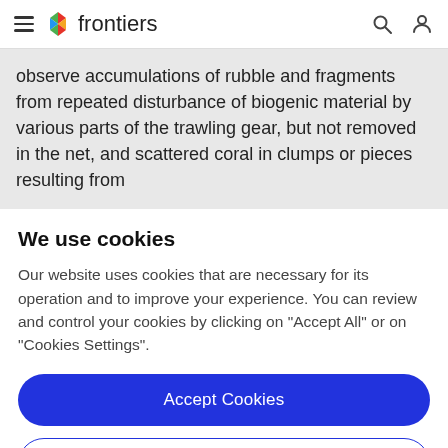frontiers
observe accumulations of rubble and fragments from repeated disturbance of biogenic material by various parts of the trawling gear, but not removed in the net, and scattered coral in clumps or pieces resulting from
We use cookies
Our website uses cookies that are necessary for its operation and to improve your experience. You can review and control your cookies by clicking on "Accept All" or on "Cookies Settings".
Accept Cookies
Cookies Settings